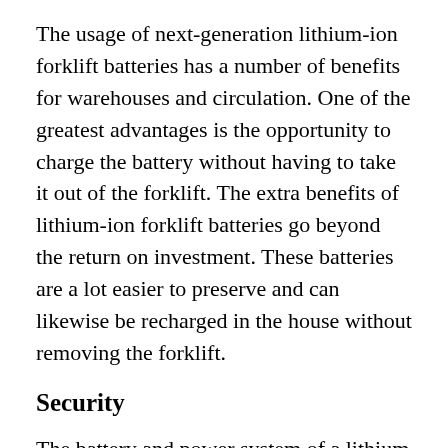The usage of next-generation lithium-ion forklift batteries has a number of benefits for warehouses and circulation. One of the greatest advantages is the opportunity to charge the battery without having to take it out of the forklift. The extra benefits of lithium-ion forklift batteries go beyond the return on investment. These batteries are a lot easier to preserve and can likewise be recharged in the house without removing the forklift.
Security
The battery and power system of a lithium